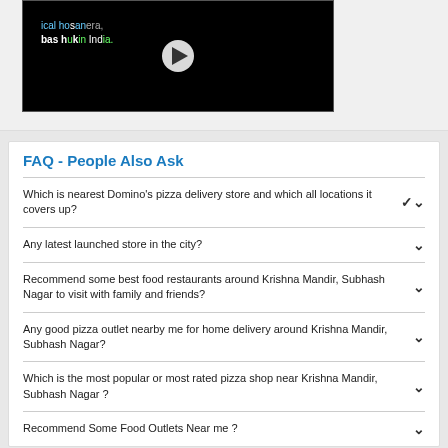[Figure (screenshot): Video thumbnail with dark background showing partial text and a play button in the center]
FAQ - People Also Ask
Which is nearest Domino's pizza delivery store and which all locations it covers up?
Any latest launched store in the city?
Recommend some best food restaurants around Krishna Mandir, Subhash Nagar to visit with family and friends?
Any good pizza outlet nearby me for home delivery around Krishna Mandir, Subhash Nagar?
Which is the most popular or most rated pizza shop near Krishna Mandir, Subhash Nagar ?
Recommend Some Food Outlets Near me ?